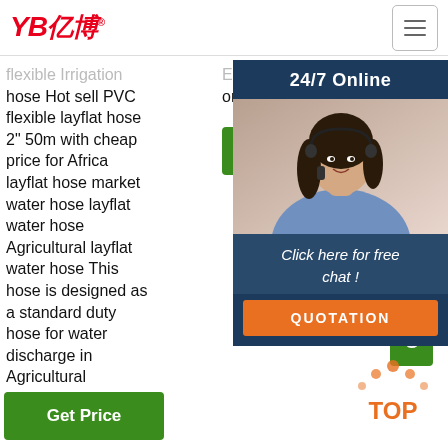YB亿博 logo and navigation
flexible Irrigation hose Hot sell PVC flexible layflat hose 2" 50m with cheap price for Africa layflat hose market water hose layflat water hose Agricultural layflat water hose This hose is designed as a standard duty hose for water discharge in Agricultural Irrigation, industrial and ...
Exporting supplier on Alibaba.com.
Spray Hose and 372 more Products A V... Sup... Alib...
[Figure (photo): Customer service agent with headset, smiling, with 24/7 Online banner and chat panel]
24/7 Online
Click here for free chat !
QUOTATION
[Figure (infographic): TOP button with orange dots arranged in arc above orange TOP text]